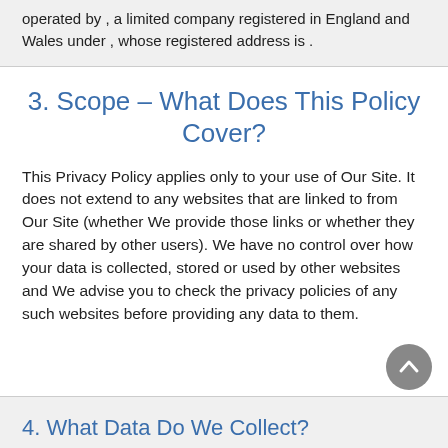operated by , a limited company registered in England and Wales under , whose registered address is .
3. Scope – What Does This Policy Cover?
This Privacy Policy applies only to your use of Our Site. It does not extend to any websites that are linked to from Our Site (whether We provide those links or whether they are shared by other users). We have no control over how your data is collected, stored or used by other websites and We advise you to check the privacy policies of any such websites before providing any data to them.
4. What Data Do We Collect?